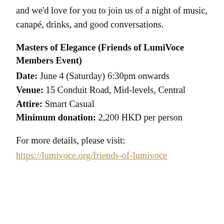and we'd love for you to join us of a night of music, canapé, drinks, and good conversations.
Masters of Elegance (Friends of LumiVoce Members Event)
Date: June 4 (Saturday) 6:30pm onwards
Venue: 15 Conduit Road, Mid-levels, Central
Attire: Smart Casual
Minimum donation: 2,200 HKD per person
For more details, please visit: https://lumivoce.org/friends-of-lumivoce